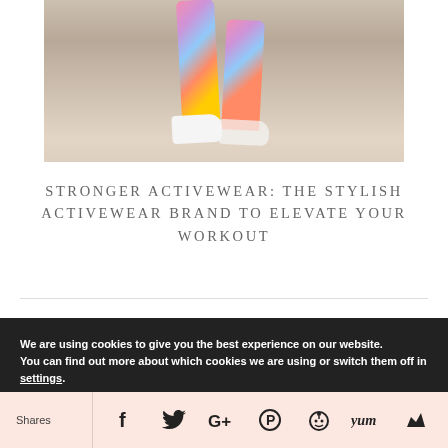[Figure (photo): Lower body of a person running/walking wearing colorful patterned leggings and white sneakers on pavement]
STRONGER ACTIVEWEAR: THE STYLISH ACTIVEWEAR BRAND TO ELEVATE YOUR WORKOUT
We are using cookies to give you the best experience on our website.
You can find out more about which cookies we are using or switch them off in settings.
Shares